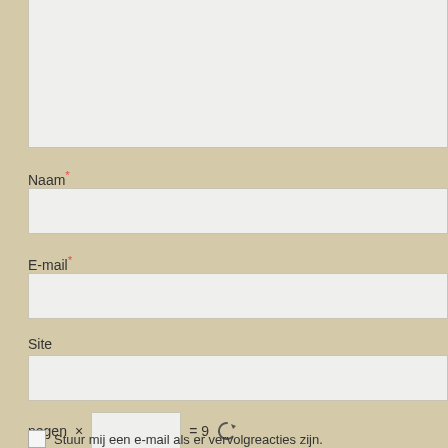[Figure (screenshot): Textarea input field (top portion visible, light grey background)]
Naam*
[Figure (screenshot): Naam text input field]
E-mail*
[Figure (screenshot): E-mail text input field]
Site
[Figure (screenshot): Site text input field]
negen × [input] = 9 [refresh icon]
Stuur mij een e-mail als er vervolgreacties zijn.